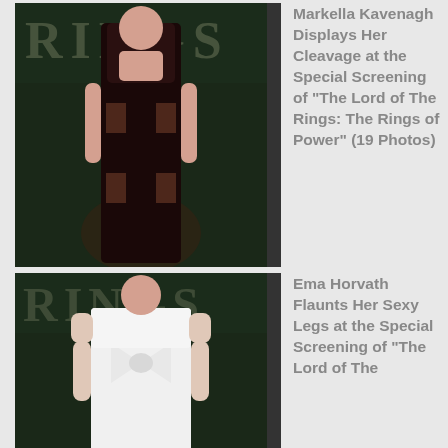[Figure (photo): Woman in dark low-cut dress at The Lord of The Rings: The Rings of Power screening event]
Markella Kavenagh Displays Her Cleavage at the Special Screening of “The Lord of The Rings: The Rings of Power” (19 Photos)
[Figure (photo): Woman in white off-shoulder dress at The Lord of The Rings: The Rings of Power screening event]
Ema Horvath Flaunts Her Sexy Legs at the Special Screening of “The Lord of The